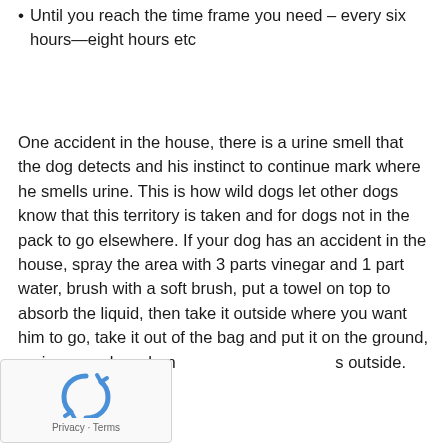Until you reach the time frame you need – every six hours—eight hours etc
One accident in the house, there is a urine smell that the dog detects and his instinct to continue mark where he smells urine. This is how wild dogs let other dogs know that this territory is taken and for dogs not in the pack to go elsewhere. If your dog has an accident in the house, spray the area with 3 parts vinegar and 1 part water, brush with a soft brush, put a towel on top to absorb the liquid, then take it outside where you want him to go, take it out of the bag and put it on the ground, praise your dog when he goes outside.
[Figure (other): Google reCAPTCHA widget with blue arrow icon, Privacy and Terms links]